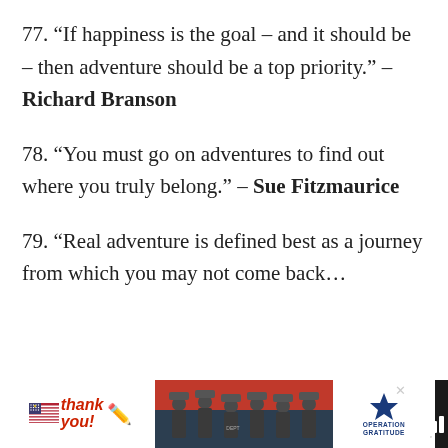77. “If happiness is the goal – and it should be – then adventure should be a top priority.” – Richard Branson
78. “You must go on adventures to find out where you truly belong.” – Sue Fitzmaurice
79. “Real adventure is defined best as a journey from which you may not come back...
[Figure (other): Advertisement banner at bottom: Thank you message with American flag and pencil icon, firefighters photo, Operation Gratitude logo, close button, Tidal logo]